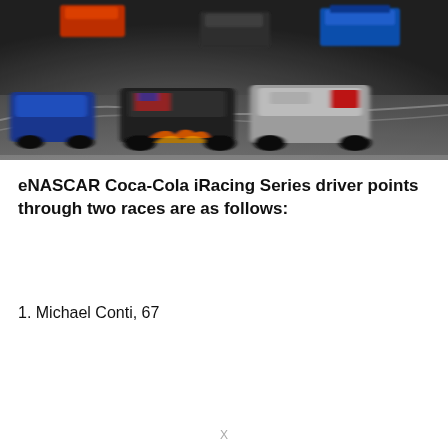[Figure (photo): A group of NASCAR stock cars racing on a track, viewed from behind, motion blur suggesting high speed. Cars include blue, grey, dark, and other colored vehicles on a grey asphalt track.]
eNASCAR Coca-Cola iRacing Series driver points through two races are as follows:
1. Michael Conti, 67
X